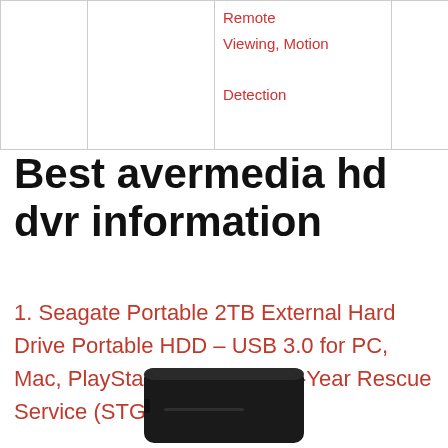|  |  |  |  |
| --- | --- | --- | --- |
|  |  | Remote
Viewing, Motion
Detection |  |
Best avermedia hd dvr information
1. Seagate Portable 2TB External Hard Drive Portable HDD – USB 3.0 for PC, Mac, PlayStation, & Xbox – 1-Year Rescue Service (STGX2000400)
[Figure (photo): Bottom portion of a black Seagate portable external hard drive]